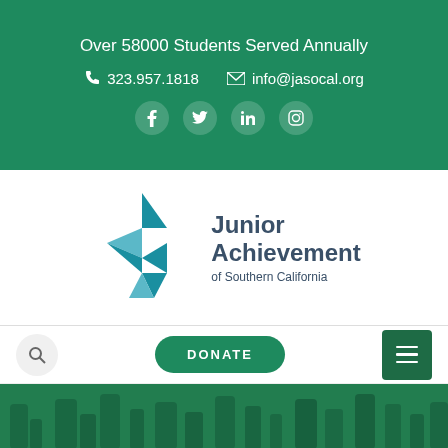Over 58000 Students Served Annually
323.957.1818  info@jasocal.org
[Figure (other): Social media icons row: Facebook, Twitter, LinkedIn, Instagram]
[Figure (logo): Junior Achievement of Southern California logo with geometric teal diamond arrow shape and dark blue text]
DONATE
[Figure (photo): Green-tinted hero image showing people's feet/legs walking or running]